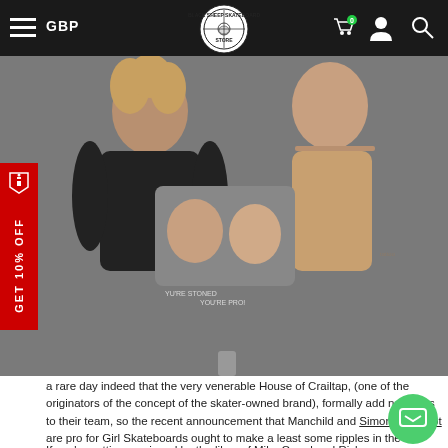GBP — Black Sheep Skateboard Store
[Figure (photo): Two young men posing indoors, one with curly hair holding a skateboard deck with a photo print of two faces on it, the other shirtless and laughing. Beer cans visible at bottom.]
a rare day indeed that the very venerable House of Crailtap, (one of the originators of the concept of the skater-owned brand), formally add new pros to their team, so the recent announcement that Manchild and Simon Bannerot are pro for Girl Skateboards ought to make a least some ripples in the skateboarding universe.
If you're getting co-signed by the likes of Mike Carrol and Rick Howard then it's safe to say firstly that you are very talented on a skateboard, but also, and infinitely more importantly, you're not a bellend in any shape or form and that, besides being good at tricks, you also possess a decency that means members of the skate world from one thing that the…